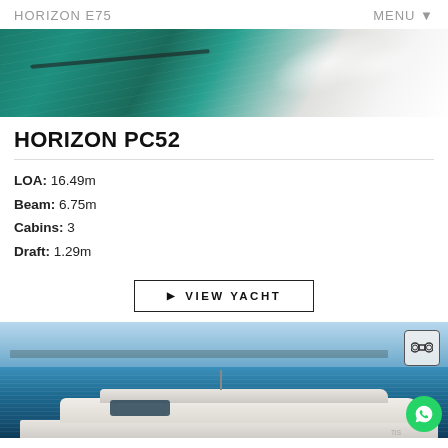HORIZON E75    MENU
[Figure (photo): Aerial/side view of a yacht cutting through turquoise water with white wake and spray]
HORIZON PC52
LOA: 16.49m
Beam: 6.75m
Cabins: 3
Draft: 1.29m
▶ VIEW YACHT
[Figure (photo): Horizon PC52 yacht photographed from the side/front on open blue water with city skyline in background, binoculars icon overlay in top-right, WhatsApp button bottom-right]